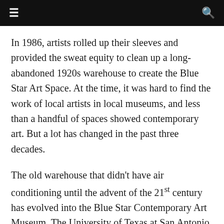≡  🔍
In 1986, artists rolled up their sleeves and provided the sweat equity to clean up a long-abandoned 1920s warehouse to create the Blue Star Art Space. At the time, it was hard to find the work of local artists in local museums, and less than a handful of spaces showed contemporary art. But a lot has changed in the past three decades.
The old warehouse that didn't have air conditioning until the advent of the 21st century has evolved into the Blue Star Contemporary Art Museum. The University of Texas at San Antonio, just getting going in the early 1980s, now produces a steady supply of MFAs, who often take a DIY approach to forming the core of the